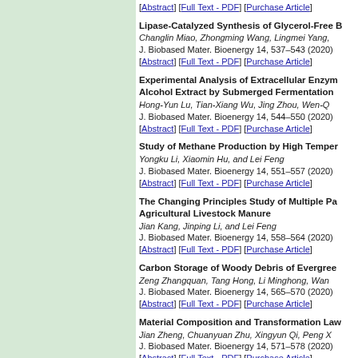[Abstract] [Full Text - PDF] [Purchase Article]
Lipase-Catalyzed Synthesis of Glycerol-Free B... Changlin Miao, Zhongming Wang, Lingmei Yang,... J. Biobased Mater. Bioenergy 14, 537–543 (2020) [Abstract] [Full Text - PDF] [Purchase Article]
Experimental Analysis of Extracellular Enzyme... Alcohol Extract by Submerged Fermentation Hong-Yun Lu, Tian-Xiang Wu, Jing Zhou, Wen-Q... J. Biobased Mater. Bioenergy 14, 544–550 (2020) [Abstract] [Full Text - PDF] [Purchase Article]
Study of Methane Production by High Temper... Yongku Li, Xiaomin Hu, and Lei Feng J. Biobased Mater. Bioenergy 14, 551–557 (2020) [Abstract] [Full Text - PDF] [Purchase Article]
The Changing Principles Study of Multiple Pa... Agricultural Livestock Manure Jian Kang, Jinping Li, and Lei Feng J. Biobased Mater. Bioenergy 14, 558–564 (2020) [Abstract] [Full Text - PDF] [Purchase Article]
Carbon Storage of Woody Debris of Evergree... Zeng Zhangquan, Tang Hong, Li Minghong, Wan... J. Biobased Mater. Bioenergy 14, 565–570 (2020) [Abstract] [Full Text - PDF] [Purchase Article]
Material Composition and Transformation Law... Jian Zheng, Chuanyuan Zhu, Xingyun Qi, Peng X... J. Biobased Mater. Bioenergy 14, 571–578 (2020) [Abstract] [Full Text - PDF] [Purchase Article]